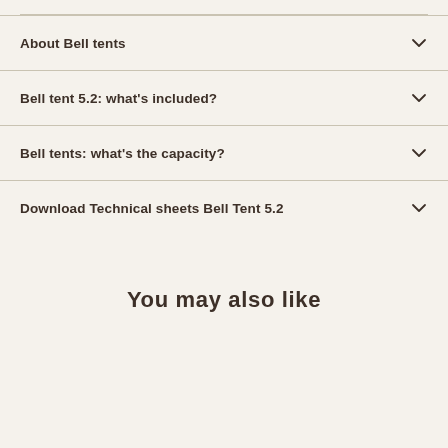About Bell tents
Bell tent 5.2: what's included?
Bell tents: what's the capacity?
Download Technical sheets Bell Tent 5.2
You may also like